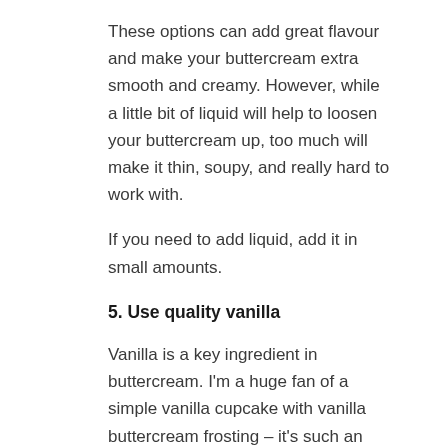These options can add great flavour and make your buttercream extra smooth and creamy. However, while a little bit of liquid will help to loosen your buttercream up, too much will make it thin, soupy, and really hard to work with.
If you need to add liquid, add it in small amounts.
5. Use quality vanilla
Vanilla is a key ingredient in buttercream. I'm a huge fan of a simple vanilla cupcake with vanilla buttercream frosting – it's such an amazing flavour. If you get the right vanilla extract, of course.
There are a lot of options out there and it can be